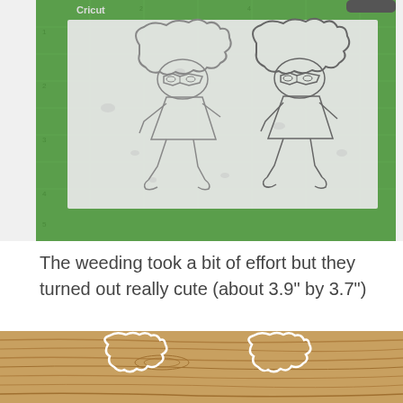[Figure (photo): Photo of a green Cricut cutting mat with white paper showing two cut vinyl designs of a character with curly hair wearing sunglasses, viewed from above. The cuts show outline shapes on the mat surface.]
The weeding took a bit of effort but they turned out really cute (about 3.9" by 3.7")
[Figure (photo): Partial photo showing the bottom of a wooden surface with two white vinyl sticker outlines of curly-haired characters placed on it.]